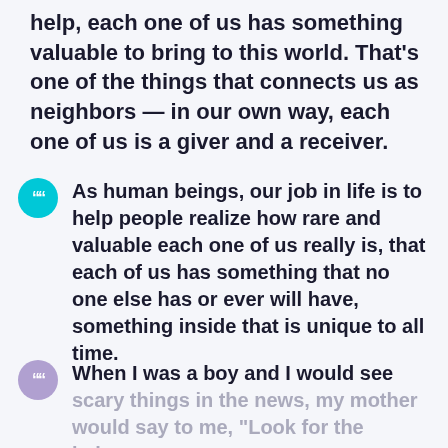help, each one of us has something valuable to bring to this world. That's one of the things that connects us as neighbors — in our own way, each one of us is a giver and a receiver.
As human beings, our job in life is to help people realize how rare and valuable each one of us really is, that each of us has something that no one else has or ever will have, something inside that is unique to all time.
When I was a boy and I would see scary things in the news, my mother would say to me, "Look for the helpers.